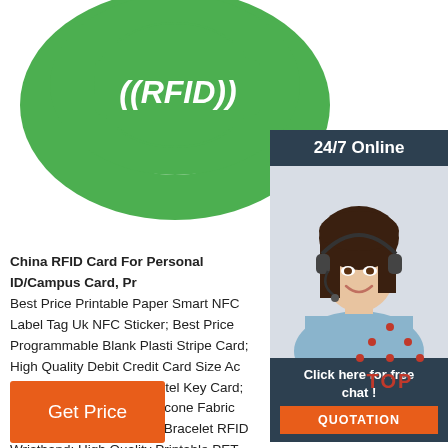[Figure (photo): Green RFID silicone wristband with white ((RFID)) text on dark teal/dark background]
[Figure (photo): 24/7 Online banner with customer service agent woman wearing headset, smiling, with 'Click here for free chat!' overlay and orange QUOTATION button]
China RFID Card For Personal ID/Campus Card, Pr Best Price Printable Paper Smart NFC Label Tag UK NFC Sticker; Best Price Programmable Blank Plasti Stripe Card; High Quality Debit Credit Card Size Ac RFID NFC Smart Chip Hotel Key Card; Factory Price Writable Silicone Fabric PVC Paper Passive NFC Bracelet RFID Wristband; High Quality Printable PET ...
[Figure (illustration): TOP button icon with red dots forming a triangle/arrow pointing up above red TOP text]
[Figure (other): Orange Get Price button]